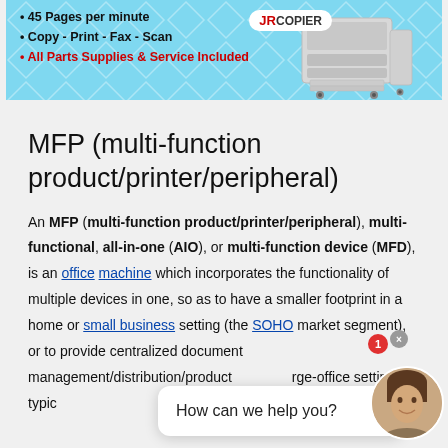[Figure (infographic): JRCopier advertisement banner on light blue diamond-pattern background showing a large office copier/printer machine. Text lists: 45 Pages per minute, Copy - Print - Fax - Scan, All Parts Supplies & Service Included (in red). JRCopier logo badge visible.]
MFP (multi-function product/printer/peripheral)
An MFP (multi-function product/printer/peripheral), multi-functional, all-in-one (AIO), or multi-function device (MFD), is an office machine which incorporates the functionality of multiple devices in one, so as to have a smaller footprint in a home or small business setting (the SOHO market segment), or to provide centralized document management/distribution/production in a large-office setting. A typical MFP may act as a combination of some of the following devic...
[Figure (infographic): Chat support popup widget showing a woman avatar with notification badge reading 1, a white rounded popup box with text 'How can we help you?' and a close X button.]